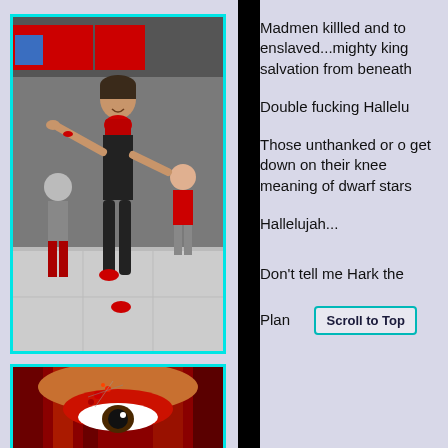[Figure (photo): A woman in a black sleeveless top and black pants with a red scarf, dancing energetically in what appears to be a mall or public space. Other dancers in red and black are visible in the background.]
Madmen killled and to enslaved...mighty king salvation from beneath
Double fucking Hallelu
Those unthanked or o get down on their knee meaning of dwarf stars
Hallelujah...
Don't tell me Hark the
[Figure (photo): Close-up of a person's eye with dramatic red and black makeup and jeweled accessories, surrounded by red fabric.]
Plan
Scroll to Top